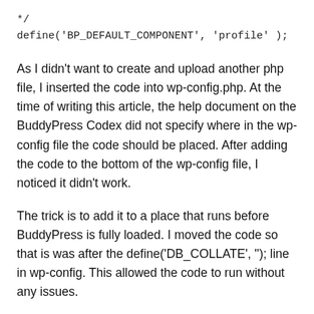*/
define('BP_DEFAULT_COMPONENT', 'profile' );
As I didn't want to create and upload another php file, I inserted the code into wp-config.php. At the time of writing this article, the help document on the BuddyPress Codex did not specify where in the wp-config file the code should be placed. After adding the code to the bottom of the wp-config file, I noticed it didn't work.
The trick is to add it to a place that runs before BuddyPress is fully loaded. I moved the code so that is was after the define('DB_COLLATE', ''); line in wp-config. This allowed the code to run without any issues.